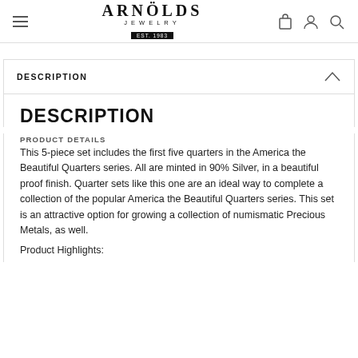ARNÖLDS JEWELRY EST. 1983
DESCRIPTION
DESCRIPTION
PRODUCT DETAILS
This 5-piece set includes the first five quarters in the America the Beautiful Quarters series. All are minted in 90% Silver, in a beautiful proof finish. Quarter sets like this one are an ideal way to complete a collection of the popular America the Beautiful Quarters series. This set is an attractive option for growing a collection of numismatic Precious Metals, as well.

Product Highlights: